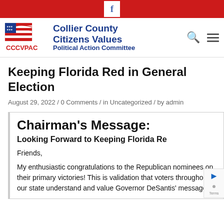[Figure (logo): Red bar at top with Facebook icon (f) in white square]
[Figure (logo): CCCVPAC logo with American flag and text: Collier County Citizens Values Political Action Committee, with search and hamburger menu icons]
Keeping Florida Red in General Election
August 29, 2022 / 0 Comments / in Uncategorized / by admin
Chairman's Message:
Looking Forward to Keeping Florida Re
Friends,
My enthusiastic congratulations to the Republican nominees on their primary victories! This is validation that voters throughout our state understand and value Governor DeSantis' message of